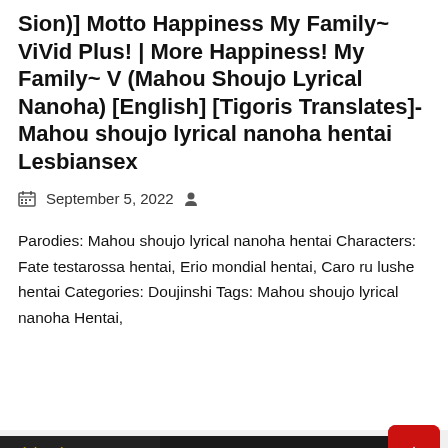Sion)] Motto Happiness My Family~ ViVid Plus! | More Happiness! My Family~ V (Mahou Shoujo Lyrical Nanoha) [English] [Tigoris Translates]- Mahou shoujo lyrical nanoha hentai Lesbiansex
September 5, 2022
Parodies: Mahou shoujo lyrical nanoha hentai Characters: Fate testarossa hentai, Erio mondial hentai, Caro ru lushe hentai Categories: Doujinshi Tags: Mahou shoujo lyrical nanoha Hentai,
Read More
[Figure (photo): Adult content image with golden anime-style character and pink elements, with 'adult only' text visible in the corner]